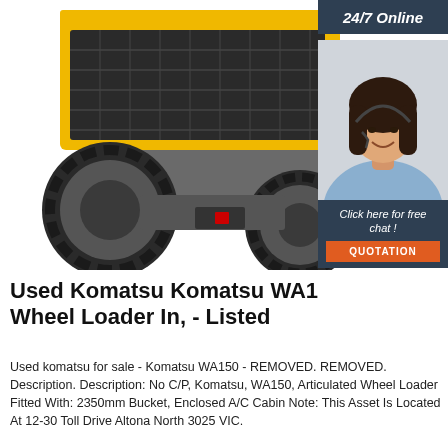[Figure (photo): Yellow Komatsu WA150 articulated wheel loader photographed from the rear/side, showing large black tyres and yellow cab structure. White background. To the right is a customer service chat widget showing a female agent with headset, '24/7 Online' header, 'Click here for free chat!' text, and an orange 'QUOTATION' button.]
Used Komatsu Komatsu WA1… Wheel Loader In, - Listed
Used komatsu for sale - Komatsu WA150 - REMOVED. REMOVED. Description. Description: No C/P, Komatsu, WA150, Articulated Wheel Loader Fitted With: 2350mm Bucket, Enclosed A/C Cabin Note: This Asset Is Located At 12-30 Toll Drive Altona North 3025 VIC.